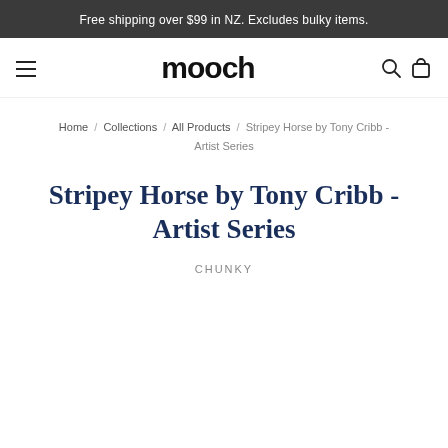Free shipping over $99 in NZ. Excludes bulky items.
[Figure (logo): mooch brand logo with hamburger menu icon, search icon, and bag icon navigation]
Home / Collections / All Products / Stripey Horse by Tony Cribb - Artist Series
Stripey Horse by Tony Cribb - Artist Series
CHUNKY